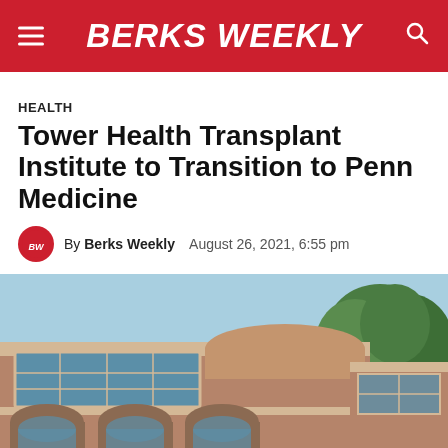BERKS WEEKLY
HEALTH
Tower Health Transplant Institute to Transition to Penn Medicine
By Berks Weekly   August 26, 2021, 6:55 pm
[Figure (photo): Exterior photo of a brick medical building with large arched windows and curved facade, photographed on a sunny day with trees visible in the background]